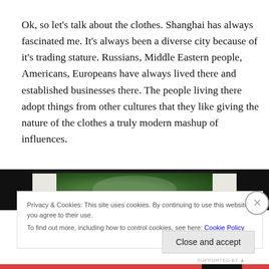Ok, so let's talk about the clothes. Shanghai has always fascinated me. It's always been a diverse city because of it's trading stature. Russians, Middle Eastern people, Americans, Europeans have always lived there and established businesses there. The people living there adopt things from other cultures that they like giving the nature of the clothes a truly modern mashup of influences.
[Figure (photo): Partial photo of food on a plate, dark background, cropped at top of image area]
Privacy & Cookies: This site uses cookies. By continuing to use this website, you agree to their use.
To find out more, including how to control cookies, see here: Cookie Policy
Close and accept